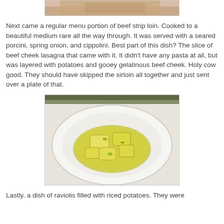[Figure (photo): Partial view of a food dish, likely beef, cropped at top of page]
Next came a regular menu portion of beef strip loin. Cooked to a beautiful medium rare all the way through. It was served with a seared porcini, spring onion, and cippolini. Best part of this dish? The slice of beef cheek lasagna that came with it. It didn't have any pasta at all, but was layered with potatoes and gooey gelatinous beef cheek. Holy cow good. They should have skipped the sirloin all together and just sent over a plate of that.
[Figure (photo): A white bowl containing ravioli pasta in a yellow-green sauce on a white plate]
Lastly, a dish of raviolis filled with riced potatoes. They were